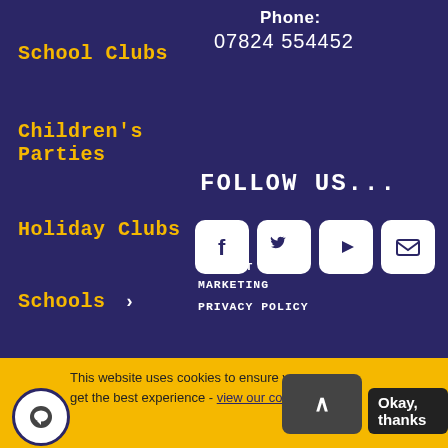School Clubs
Children's Parties
Holiday Clubs
Schools
Contact
Phone:
07824 554452
FOLLOW US...
[Figure (infographic): Social media icons: Facebook, Twitter, YouTube, Email in white rounded square buttons]
OPT OUT OF MARKETING
PRIVACY POLICY
This website uses cookies to ensure you get the best experience - view our cookie policy
Okay, thanks